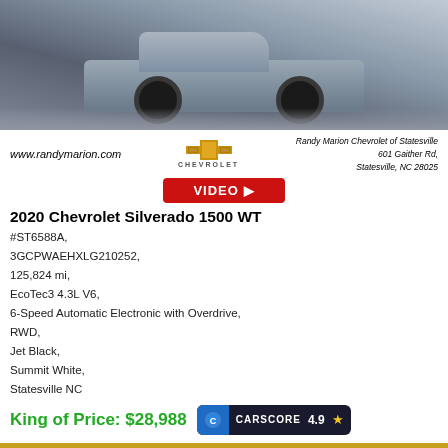[Figure (photo): Front/side view of a 2020 Chevrolet Silverado 1500 WT truck in Summit White, photographed from a low angle showing the front grille and wheels on a stone/pavement surface]
www.randymarion.com
[Figure (logo): Chevrolet gold bowtie logo with CHEVROLET text below]
Randy Marion Chevrolet of Statesville
601 Gaither Rd,
Statesville, NC 28025
[Figure (other): Red VIDEO button with play arrow]
2020 Chevrolet Silverado 1500 WT
#ST6588A,
3GCPWAEHXLG210252,
125,824 mi,
EcoTec3 4.3L V6,
6-Speed Automatic Electronic with Overdrive,
RWD,
Jet Black,
Summit White,
Statesville NC
King of Price: $28,988
[Figure (other): CarScore badge showing 4.9 with star rating]
Lock in Your Price